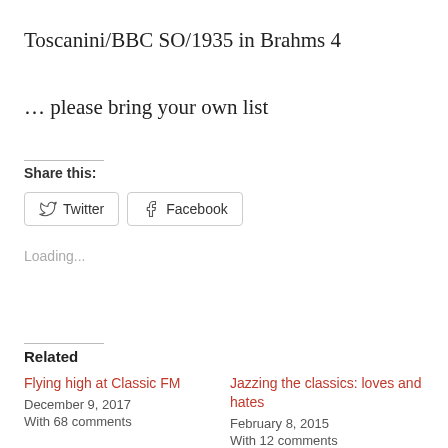Toscanini/BBC SO/1935 in Brahms 4
… please bring your own list
Share this:
[Figure (other): Twitter and Facebook share buttons]
Loading...
Related
Flying high at Classic FM
December 9, 2017
With 68 comments
Jazzing the classics: loves and hates
February 8, 2015
With 12 comments